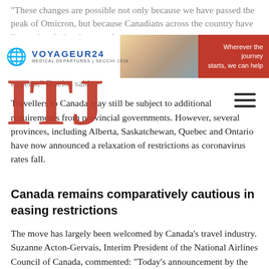“These changes are possible not only because we have passed the peak of Omicron, but because Canadians across the country have listened to their science and to experts,” Duclos said.
[Figure (logo): Voyageur24 travel brand banner with globe icon, brand name VOYAGEUR24, tagline 'Wherever the journey starts, we can help', red background on right side with city photo]
[Figure (logo): ITJ large red serif logo letters overlaid on article text]
Travellers to Canada may still be subject to additional requirements from provincial governments. However, several provinces, including Alberta, Saskatchewan, Quebec and Ontario have now announced a relaxation of restrictions as coronavirus rates fall.
Canada remains comparatively cautious in easing restrictions
The move has largely been welcomed by Canada’s travel industry. Suzanne Acton-Gervais, Interim President of the National Airlines Council of Canada, commented: "Today’s announcement by the federal government is a step forward